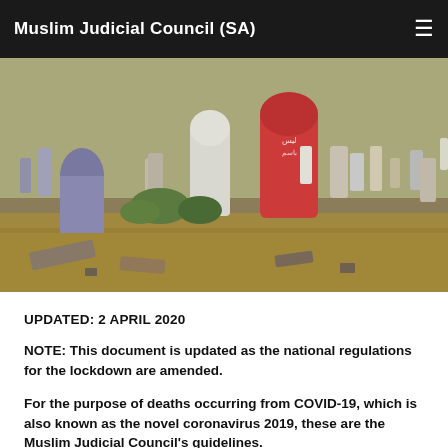Muslim Judicial Council (SA)
[Figure (photo): Cemetery with various gravestones including a prominent red gravestone, dry grass, and multiple tombstones in the background.]
UPDATED: 2 APRIL 2020
NOTE: This document is updated as the national regulations for the lockdown are amended.
For the purpose of deaths occurring from COVID-19, which is also known as the novel coronavirus 2019, these are the Muslim Judicial Council's guidelines.